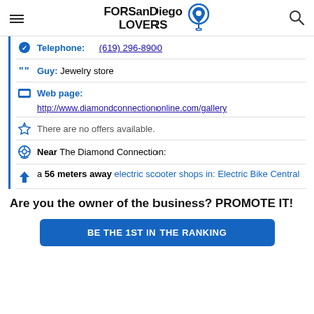FORSanDiego LOVERS
Telephone: (619) 296-8900
Guy: Jewelry store
Web page: http://www.diamondconnectiononline.com/gallery
There are no offers available.
Near The Diamond Connection:
a 56 meters away electric scooter shops in: Electric Bike Central
Are you the owner of the business? PROMOTE IT!
BE THE 1ST IN THE RANKING